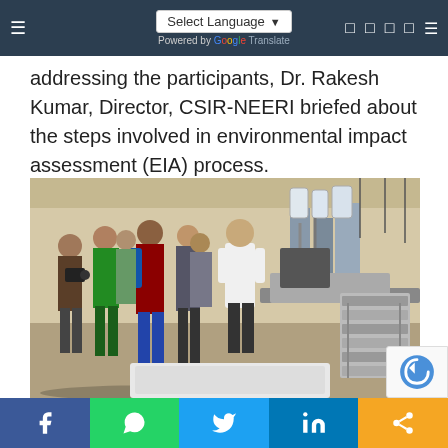Select Language | Powered by Google Translate
addressing the participants, Dr. Rakesh Kumar, Director, CSIR-NEERI briefed about the steps involved in environmental impact assessment (EIA) process.
[Figure (photo): Group of participants in a laboratory setting, with a person in a white lab coat addressing them. Laboratory equipment including filtration/water treatment apparatus visible on a table to the right.]
Facebook | WhatsApp | Twitter | LinkedIn | Share